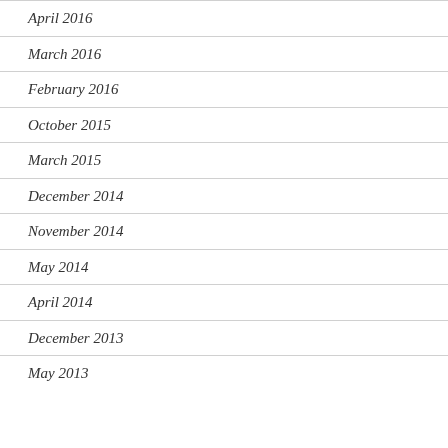April 2016
March 2016
February 2016
October 2015
March 2015
December 2014
November 2014
May 2014
April 2014
December 2013
May 2013